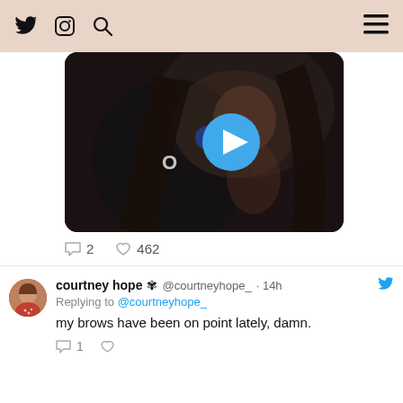Twitter/Instagram/Search navigation header
[Figure (screenshot): Dark video thumbnail showing a woman with long hair looking up, with a blue play button overlay. Text 'O' partially visible.]
2  462
[Figure (photo): Avatar profile photo of courtney hope — woman with brown hair]
courtney hope 🌸 @courtneyhope_ · 14h
Replying to @courtneyhope_
my brows have been on point lately, damn.
1